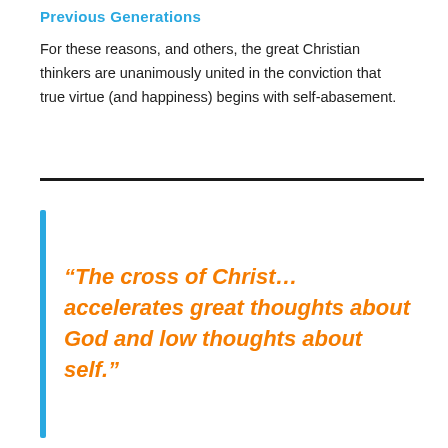Previous Generations
For these reasons, and others, the great Christian thinkers are unanimously united in the conviction that true virtue (and happiness) begins with self-abasement.
“The cross of Christ… accelerates great thoughts about God and low thoughts about self.”